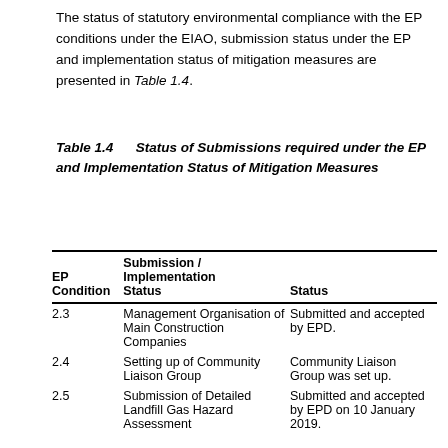The status of statutory environmental compliance with the EP conditions under the EIAO, submission status under the EP and implementation status of mitigation measures are presented in Table 1.4.
Table 1.4  Status of Submissions required under the EP and Implementation Status of Mitigation Measures
| EP Condition | Submission / Implementation Status | Status |
| --- | --- | --- |
| 2.3 | Management Organisation of Main Construction Companies | Submitted and accepted by EPD. |
| 2.4 | Setting up of Community Liaison Group | Community Liaison Group was set up. |
| 2.5 | Submission of Detailed Landfill Gas Hazard Assessment | Submitted and accepted by EPD on 10 January 2019. |